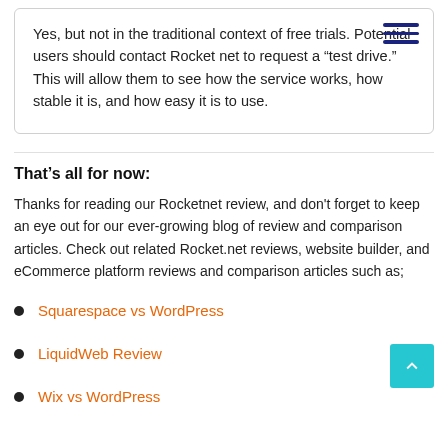Yes, but not in the traditional context of free trials. Potential users should contact Rocket net to request a “test drive.” This will allow them to see how the service works, how stable it is, and how easy it is to use.
That’s all for now:
Thanks for reading our Rocketnet review, and don’t forget to keep an eye out for our ever-growing blog of review and comparison articles. Check out related Rocket.net reviews, website builder, and eCommerce platform reviews and comparison articles such as;
Squarespace vs WordPress
LiquidWeb Review
Wix vs WordPress